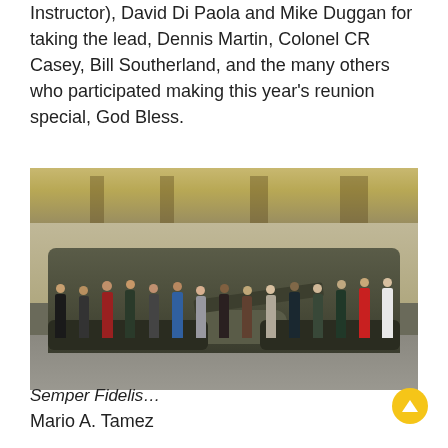Instructor), David Di Paola and Mike Duggan for taking the lead, Dennis Martin, Colonel CR Casey, Bill Southerland, and the many others who participated making this year's reunion special, God Bless.
[Figure (photo): Group photo of approximately 15-16 people standing in a large industrial warehouse/facility in front of a military tank (appears to be an M1 Abrams). The group includes men and women of various ages. The warehouse has a high ceiling with visible crane structures.]
Semper Fidelis…
Mario A. Tamez